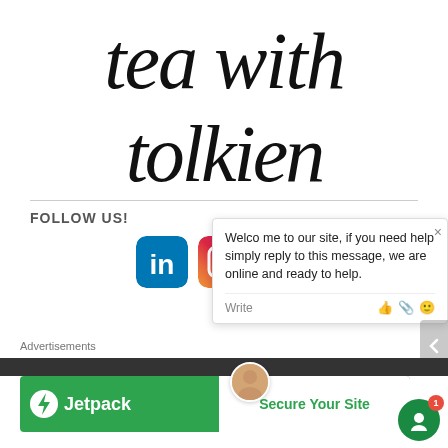[Figure (logo): Tea with Tolkien handwritten script logo in black cursive on white background]
FOLLOW US!
[Figure (infographic): Three social media icons: LinkedIn (blue), Instagram (colorful camera), Pinterest (red)]
[Figure (infographic): Chat bubble overlay: 'Welcome to our site, if you need help simply reply to this message, we are online and ready to help.' with Write input bar and icons]
Advertisements
[Figure (infographic): Jetpack green banner ad with lightning bolt logo and 'Secure Your Site' call to action button]